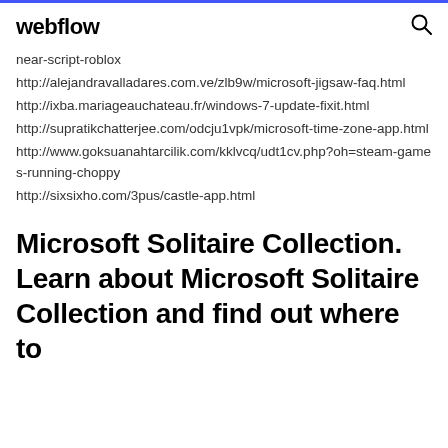webflow
near-script-roblox
http://alejandravalladares.com.ve/zlb9w/microsoft-jigsaw-faq.html
http://ixba.mariageauchateau.fr/windows-7-update-fixit.html
http://supratikchatterjee.com/odcju1vpk/microsoft-time-zone-app.html
http://www.goksuanahtarcilik.com/kklvcq/udt1cv.php?oh=steam-games-running-choppy
http://sixsixho.com/3pus/castle-app.html
Microsoft Solitaire Collection. Learn about Microsoft Solitaire Collection and find out where to